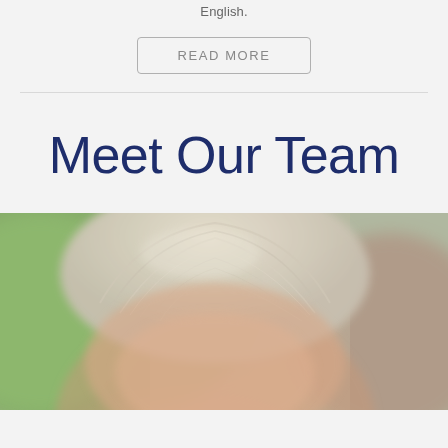English.
READ MORE
Meet Our Team
[Figure (photo): Close-up photo of a person with white/light gray hair against a blurred green and warm-toned background, showing the top of their head and forehead area.]